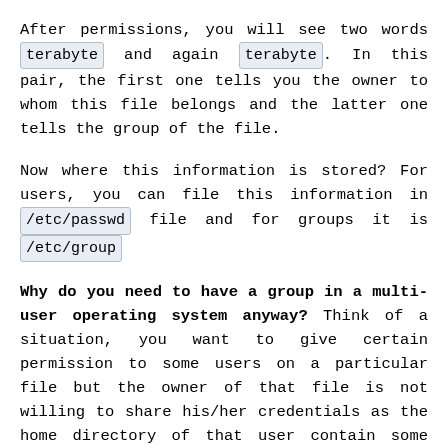After permissions, you will see two words terabyte and again terabyte. In this pair, the first one tells you the owner to whom this file belongs and the latter one tells the group of the file.
Now where this information is stored? For users, you can file this information in /etc/passwd file and for groups it is /etc/group
Why do you need to have a group in a multi-user operating system anyway? Think of a situation, you want to give certain permission to some users on a particular file but the owner of that file is not willing to share his/her credentials as the home directory of that user contain some private stuff. So in this case, to keep everyone happy the